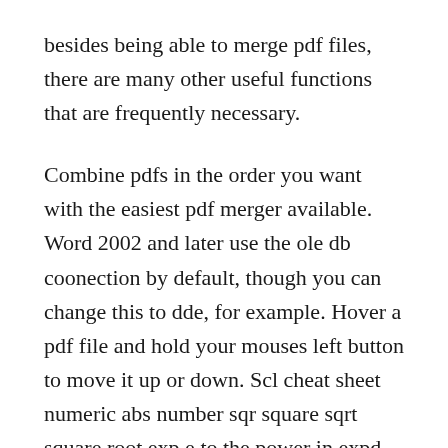besides being able to merge pdf files, there are many other useful functions that are frequently necessary.
Combine pdfs in the order you want with the easiest pdf merger available. Word 2002 and later use the ole db coonection by default, though you can change this to dde, for example. Hover a pdf file and hold your mouses left button to move it up or down. Scl cheat sheet numeric abs number sqr square sqrt square root exp e to the power in expd 10 to the power in ln natural logarithm log